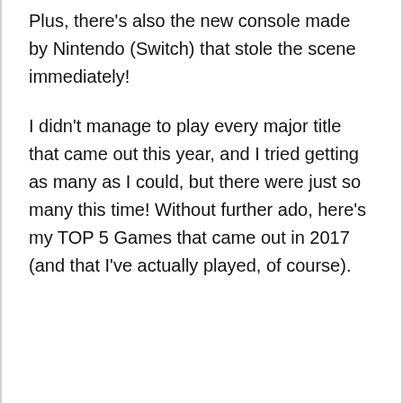Plus, there's also the new console made by Nintendo (Switch) that stole the scene immediately!
I didn't manage to play every major title that came out this year, and I tried getting as many as I could, but there were just so many this time! Without further ado, here's my TOP 5 Games that came out in 2017 (and that I've actually played, of course).